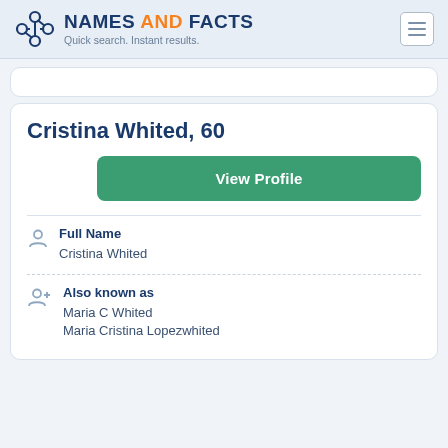NAMES AND FACTS — Quick search. Instant results.
Cristina Whited, 60
View Profile
Full Name
Cristina Whited
Also known as
Maria C Whited
Maria Cristina Lopezwhited